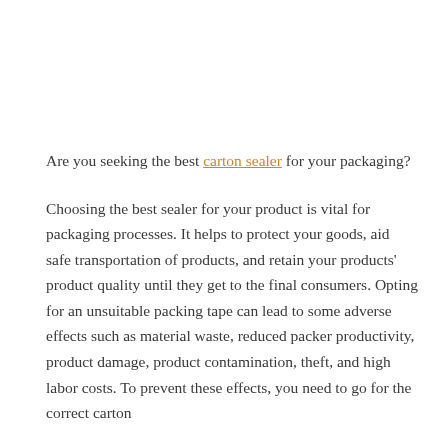Are you seeking the best carton sealer for your packaging?
Choosing the best sealer for your product is vital for packaging processes. It helps to protect your goods, aid safe transportation of products, and retain your products' product quality until they get to the final consumers. Opting for an unsuitable packing tape can lead to some adverse effects such as material waste, reduced packer productivity, product damage, product contamination, theft, and high labor costs. To prevent these effects, you need to go for the correct carton